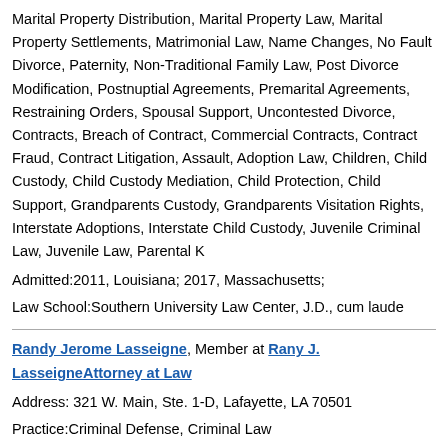Marital Property Distribution, Marital Property Law, Marital Property Settlements, Matrimonial Law, Name Changes, No Fault Divorce, Paternity, Non-Traditional Family Law, Post Divorce Modification, Postnuptial Agreements, Premarital Agreements, Restraining Orders, Spousal Support, Uncontested Divorce, Contracts, Breach of Contract, Commercial Contracts, Contract Fraud, Contract Litigation, Assault, Adoption Law, Children, Child Custody, Child Custody Mediation, Child Protection, Child Support, Grandparents Custody, Grandparents Visitation Rights, Interstate Adoptions, Interstate Child Custody, Juvenile Criminal Law, Juvenile Law, Parental K
Admitted:2011, Louisiana; 2017, Massachusetts;
Law School:Southern University Law Center, J.D., cum laude
Randy Jerome Lasseigne, Member at Rany J. LasseigneAttorney at Law
Address: 321 W. Main, Ste. 1-D, Lafayette, LA 70501
Practice:Criminal Defense, Criminal Law
Admitted:1991, Louisiana;
Law School:Southern University Class of 1991, J.D...